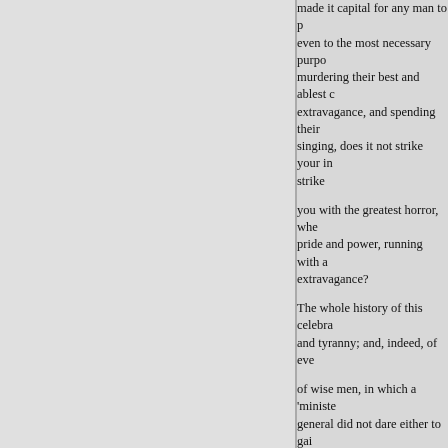made it capital for any man to p... even to the most necessary purpo... murdering their best and ablest c... extravagance, and spending their... singing, does it not strike your in... strike

you with the greatest horror, whe... pride and power, running with a ... extravagance?

The whole history of this celebra... and tyranny; and, indeed, of eve...

of wise men, in which a 'minister... general did not dare either to gai... venture on a free enquiry. This w... exile Miltiades, drove out Anaxa... its government with the moon; e... republic, as an ancient philosoph... species; here you find every sort...

As there is a perpetual change... policy, by which the begin. ning ... falling states are brought to a co...

XII. Mr. Fox's Eulogium on th...